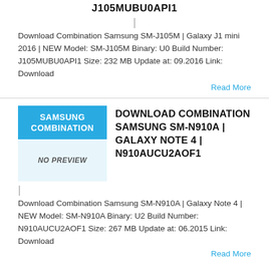J105MUBU0API1
Download Combination Samsung SM-J105M | Galaxy J1 mini 2016 | NEW Model: SM-J105M Binary: U0 Build Number: J105MUBU0API1 Size: 232 MB Update at: 09.2016 Link: Download
Read More
[Figure (screenshot): Samsung Combination firmware card thumbnail with blue header showing SAMSUNG COMBINATION and NO PREVIEW text]
DOWNLOAD COMBINATION SAMSUNG SM-N910A | GALAXY NOTE 4 | N910AUCU2AOF1
Download Combination Samsung SM-N910A | Galaxy Note 4 | NEW Model: SM-N910A Binary: U2 Build Number: N910AUCU2AOF1 Size: 267 MB Update at: 06.2015 Link: Download
Read More